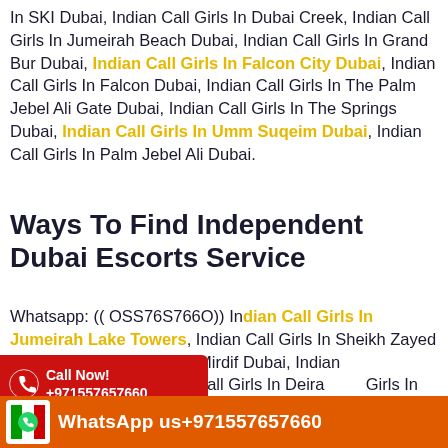In SKI Dubai, Indian Call Girls In Dubai Creek, Indian Call Girls In Jumeirah Beach Dubai, Indian Call Girls In Grand Bur Dubai, Indian Call Girls In Falcon City Dubai, Indian Call Girls In Falcon Dubai, Indian Call Girls In The Palm Jebel Ali Gate Dubai, Indian Call Girls In The Springs Dubai, Indian Call Girls In Umm Suqeim Dubai, Indian Call Girls In Palm Jebel Ali Dubai.
Ways To Find Independent Dubai Escorts Service
Whatsapp: (( OSS76S766O)) Indian Call Girls In Jumeirah Lake Towers, Indian Call Girls In Sheikh Zayed Road, Indian Call Girls In Mirdif Dubai, Indian Call [Girls In Academic City] Heights, Indian Call Girls In Deira [Tele]Girls In Palm Jumeirah, Indian Call Girls [Indian Call Girls In Al Karama Dubai,] Indian Call Girls In SZR Dubai, Indian Call Girls In JBR [Indian Call Girls In] [Girls In Al Karama]
Call Now! +971557657660
WhatsApp us+971557657660